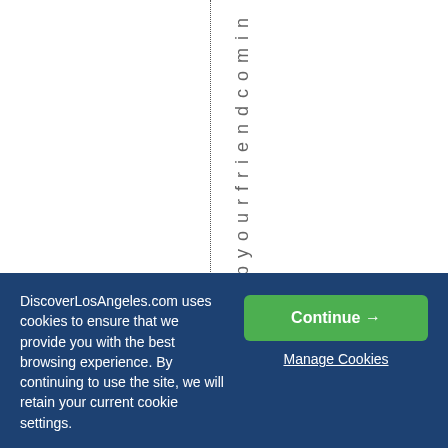[Figure (other): White area with a vertical dotted line dividing the page, and vertical text reading 'pyourfriendcomin' running downward on the right side of the dotted line]
DiscoverLosAngeles.com uses cookies to ensure that we provide you with the best browsing experience. By continuing to use the site, we will retain your current cookie settings.
Continue →
Manage Cookies